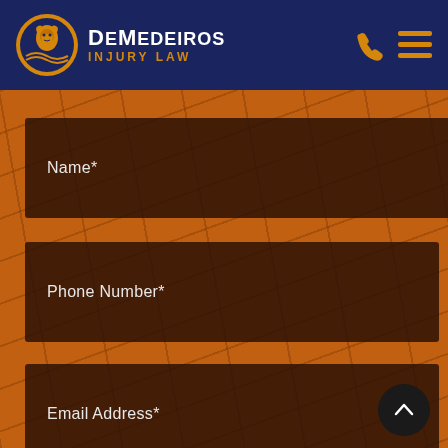[Figure (logo): DeMedeiros Injury Law logo with circular emblem showing a lion/eagle figure over waves in gold and blue, with firm name in white and gold text on dark navy background]
Name*
Phone Number*
Email Address*
Briefly describe your case....